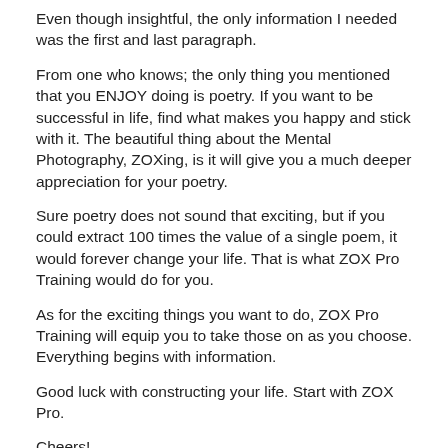Even though insightful, the only information I needed was the first and last paragraph.
From one who knows; the only thing you mentioned that you ENJOY doing is poetry. If you want to be successful in life, find what makes you happy and stick with it. The beautiful thing about the Mental Photography, ZOXing, is it will give you a much deeper appreciation for your poetry.
Sure poetry does not sound that exciting, but if you could extract 100 times the value of a single poem, it would forever change your life. That is what ZOX Pro Training would do for you.
As for the exciting things you want to do, ZOX Pro Training will equip you to take those on as you choose. Everything begins with information.
Good luck with constructing your life. Start with ZOX Pro.
Cheers!